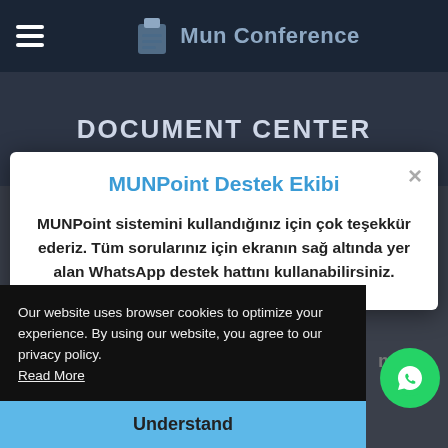Mun Conference
DOCUMENT CENTER
MUNPoint Destek Ekibi
MUNPoint sistemini kullandığınız için çok teşekkür ederiz. Tüm sorularınız için ekranın sağ altında yer alan WhatsApp destek hattını kullanabilirsiniz.
Our website uses browser cookies to optimize your experience. By using our website, you agree to our privacy policy.
Read More
Understand